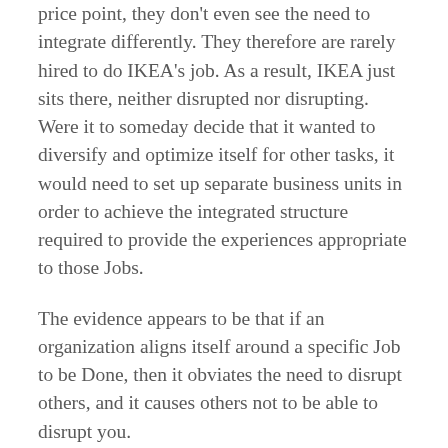price point, they don't even see the need to integrate differently. They therefore are rarely hired to do IKEA's job. As a result, IKEA just sits there, neither disrupted nor disrupting. Were it to someday decide that it wanted to diversify and optimize itself for other tasks, it would need to set up separate business units in order to achieve the integrated structure required to provide the experiences appropriate to those Jobs.
The evidence appears to be that if an organization aligns itself around a specific Job to be Done, then it obviates the need to disrupt others, and it causes others not to be able to disrupt you.
There appears to be a lesson here for law schools challenged by would-be disruptors: Take whatever technology and tools are